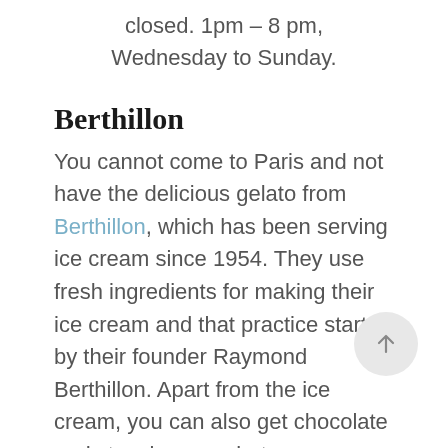closed. 1pm – 8 pm, Wednesday to Sunday.
Berthillon
You cannot come to Paris and not have the delicious gelato from Berthillon, which has been serving ice cream since 1954. They use fresh ingredients for making their ice cream and that practice started by their founder Raymond Berthillon. Apart from the ice cream, you can also get chocolate and strawberry sorbets.
The original Berthillon parlor was in St Louis, but now you will find it